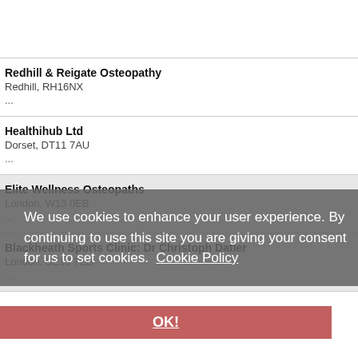Redhill & Reigate Osteopathy
Redhill, RH16NX
...
Healthihub Ltd
Dorset, DT11 7AU
...
Elite Wellness Osteopaths
London, W13 0EB
...
Blackheath Sports Clinic: Dr Christoph Datler
London, SE13 7EB
...
We use cookies to enhance your user experience. By continuing to use this site you are giving your consent for us to set cookies. Cookie Policy
OK!